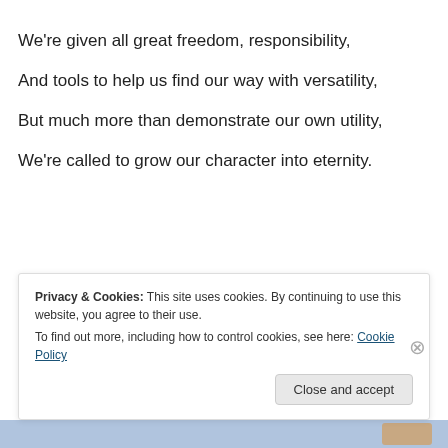We're given all great freedom, responsibility,
And tools to help us find our way with versatility,
But much more than demonstrate our own utility,
We're called to grow our character into eternity.
Power in an untrained hand leaves chaos in its wake
Privacy & Cookies: This site uses cookies. By continuing to use this website, you agree to their use.
To find out more, including how to control cookies, see here: Cookie Policy